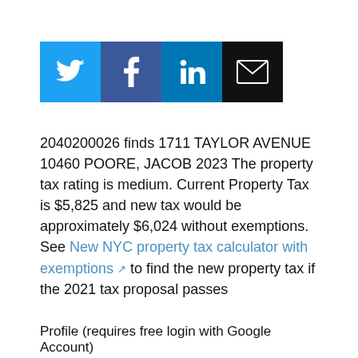[Figure (other): Social sharing buttons: Twitter (blue bird), Facebook (blue f), LinkedIn (blue in), Email (black envelope)]
2040200026 finds 1711 TAYLOR AVENUE 10460 POORE, JACOB 2023 The property tax rating is medium. Current Property Tax is $5,825 and new tax would be approximately $6,024 without exemptions. See New NYC property tax calculator with exemptions [external link] to find the new property tax if the 2021 tax proposal passes
Profile (requires free login with Google Account)
Profile [external link]